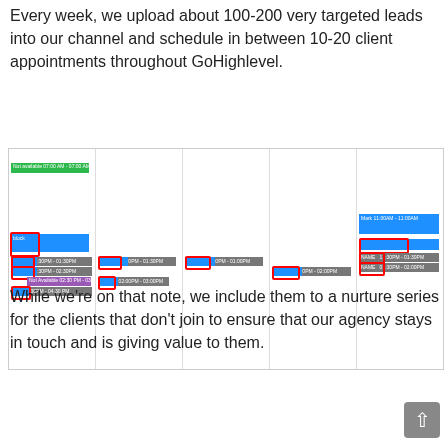Every week, we upload about 100-200 very targeted leads into our channel and schedule in between 10-20 client appointments throughout GoHighlevel.
[Figure (screenshot): Screenshot of a GoHighlevel calendar view showing multiple scheduled appointments across different days of the week, with colored blocks (green, blue, gray) and red-outlined indicators marking specific events.]
While we’re on that note, we include them to a nurture series for the clients that don’t join to ensure that our agency stays in touch and is giving value to them.